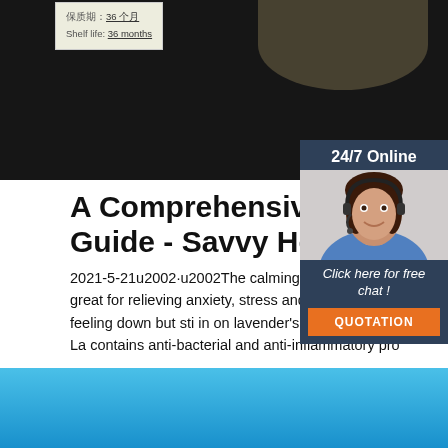[Figure (photo): Top portion of page showing a dark product packaging image with a label box showing Chinese text and English 'Shelf life: 36 months', with a beige hat visible at top right]
保质期: 36 个月
Shelf life: 36 months
[Figure (photo): Chat widget overlay on right side with '24/7 Online' header, photo of female customer service agent with headset, 'Click here for free chat!' text, and orange QUOTATION button]
A Comprehensive Essential Guide - Savvy Homemade
2021-5-21u2002·u2002The calming properties of essential oil are great for relieving anxiety, stress and depression. If you aren't feeling down but still in on lavender's sweet floral smell, no worries. Lavender contains anti-bacterial and anti-inflammatory pro…
[Figure (other): Green 'Get Price' button]
[Figure (other): Orange/red TOP button with dot pattern above text]
[Figure (other): Bottom light blue gradient bar]